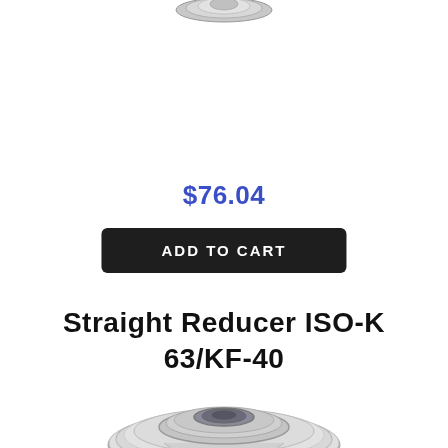[Figure (photo): Partial view of a metal vacuum flange fitting at the top of the page, cut off at the top edge]
$76.04
ADD TO CART
Straight Reducer ISO-K 63/KF-40
[Figure (photo): Technical illustration of a Straight Reducer ISO-K 63/KF-40 vacuum fitting shown from a top-front angle, silver/grey metallic component with concentric rings and a central hole]